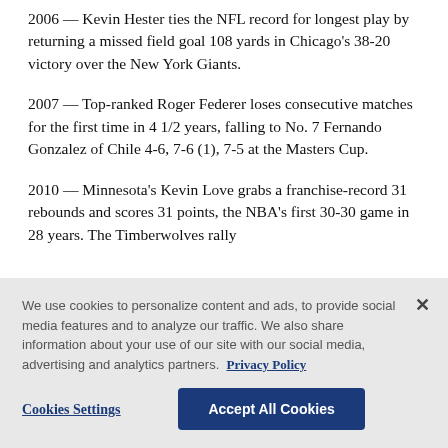2006 — Kevin Hester ties the NFL record for longest play by returning a missed field goal 108 yards in Chicago's 38-20 victory over the New York Giants.
2007 — Top-ranked Roger Federer loses consecutive matches for the first time in 4 1/2 years, falling to No. 7 Fernando Gonzalez of Chile 4-6, 7-6 (1), 7-5 at the Masters Cup.
2010 — Minnesota's Kevin Love grabs a franchise-record 31 rebounds and scores 31 points, the NBA's first 30-30 game in 28 years. The Timberwolves rally
We use cookies to personalize content and ads, to provide social media features and to analyze our traffic. We also share information about your use of our site with our social media, advertising and analytics partners. Privacy Policy
Cookies Settings
Accept All Cookies